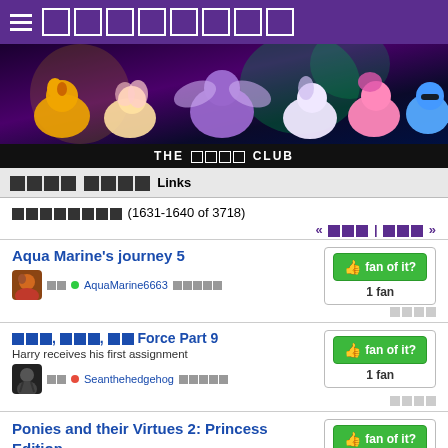□□□□□□□□
[Figure (illustration): My Little Pony banner with characters: Applejack, Fluttershy, Twilight Sparkle, Rarity, Pinkie Pie, Rainbow Dash on a dark background]
THE □□□□ CLUB
□□□□ □□□□ Links
□□□□□□□□ (1631-1640 of 3718)
« □□□ | □□□ »
Aqua Marine's journey 5
□□ □ ● AquaMarine6663 □□□□□
fan of it? 1 fan
□□□□
□□□, □□□, □□ Force Part 9
Harry receives his first assignment
□□ □ ● Seanthehedgehog □□□□□
fan of it? 1 fan
□□□□
Ponies and their Virtues 2: Princess Edition
fan of it? 2 fans